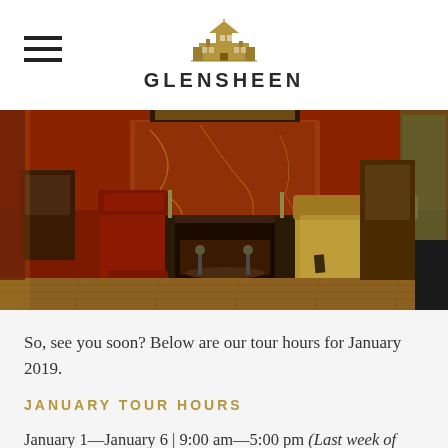[Figure (logo): Glensheen mansion logo with illustrated building icon above the text GLENSHEEN]
[Figure (photo): Interior photo of Glensheen mansion showing a Victorian-era living room with red walls, ornate fireplace, antique furniture including velvet wingback chairs and a floral settee, hardwood floors]
So, see you soon? Below are our tour hours for January 2019.
JANUARY TOUR HOURS
January 1—January 6 | 9:00 am—5:00 pm (Last week of Christmas Tours)